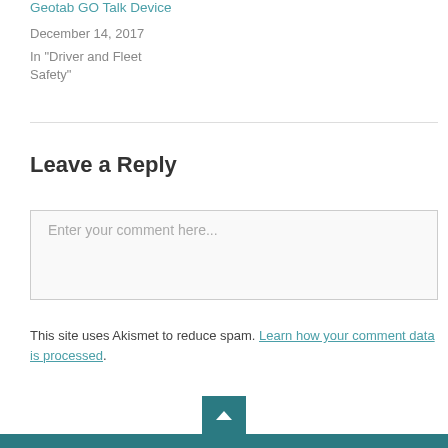Geotab GO Talk Device
December 14, 2017
In "Driver and Fleet Safety"
Leave a Reply
Enter your comment here...
This site uses Akismet to reduce spam. Learn how your comment data is processed.